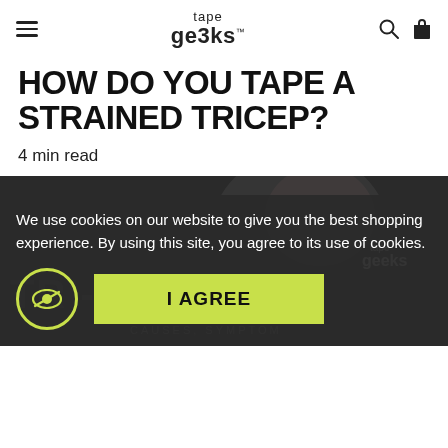tape geeks™
HOW DO YOU TAPE A STRAINED TRICEP?
4 min read
[Figure (photo): Dark photo of a man with a tricep strain, overlaid with 'TRICEP STRAIN' text and 'CAUSES, SYMPTOMS' subtitle. Tape Geeks watermark in top right.]
We use cookies on our website to give you the best shopping experience. By using this site, you agree to its use of cookies.